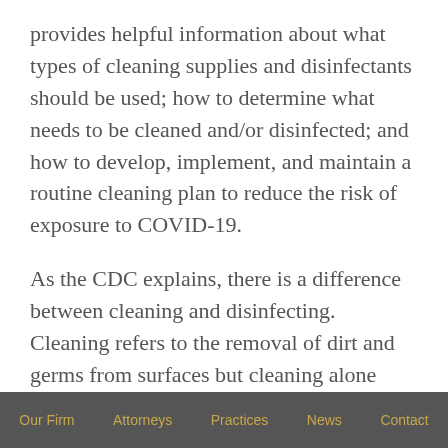provides helpful information about what types of cleaning supplies and disinfectants should be used; how to determine what needs to be cleaned and/or disinfected; and how to develop, implement, and maintain a routine cleaning plan to reduce the risk of exposure to COVID-19.
As the CDC explains, there is a difference between cleaning and disinfecting.  Cleaning refers to the removal of dirt and germs from surfaces but cleaning alone does not kill germs.  Disinfecting, on the other hand, refers to using chemicals to kill germs on surfaces, but it does not, by itself, clean the dirty surfaces or remove germs.  The
Our Firm   Attorneys   Practices   News   Contact